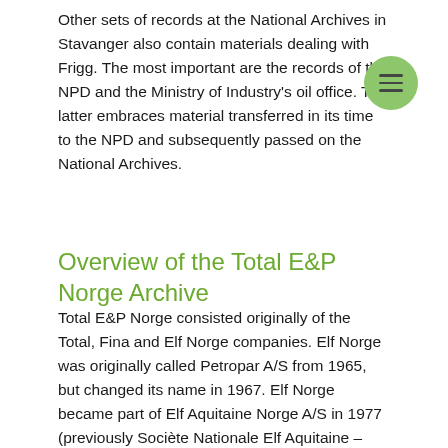Other sets of records at the National Archives in Stavanger also contain materials dealing with Frigg. The most important are the records of the NPD and the Ministry of Industry's oil office. The latter embraces material transferred in its time to the NPD and subsequently passed on the National Archives.
Overview of the Total E&P Norge Archive
Total E&P Norge consisted originally of the Total, Fina and Elf Norge companies. Elf Norge was originally called Petropar A/S from 1965, but changed its name in 1967. Elf Norge became part of Elf Aquitaine Norge A/S in 1977 (previously Sociète Nationale Elf Aquitaine – SNEA). The company changed its name to Elf Petroleum A/S in 1992. Total Norge A/S and Fina Exploration Norge SA merged in 2000. Elf Petroleum also became part of this company in 2001. It was known as TotalFinaElf until 2002, when its